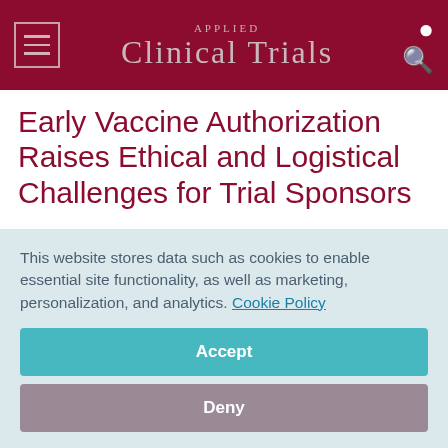Applied Clinical Trials
Early Vaccine Authorization Raises Ethical and Logistical Challenges for Trial Sponsors
November 18, 2020
Jill Wechsler, ACT's Washington Correspondent
Applied Clinical Trials, Applied Clinical Trials-11-01-2020,
This website stores data such as cookies to enable essential site functionality, as well as marketing, personalization, and analytics. Cookie Policy
Accept
Deny